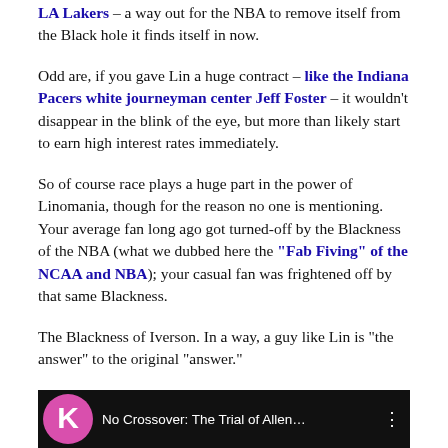LA Lakers – a way out for the NBA to remove itself from the Black hole it finds itself in now.
Odd are, if you gave Lin a huge contract – like the Indiana Pacers white journeyman center Jeff Foster – it wouldn't disappear in the blink of the eye, but more than likely start to earn high interest rates immediately.
So of course race plays a huge part in the power of Linomania, though for the reason no one is mentioning. Your average fan long ago got turned-off by the Blackness of the NBA (what we dubbed here the "Fab Fiving" of the NCAA and NBA); your casual fan was frightened off by that same Blackness.
The Blackness of Iverson. In a way, a guy like Lin is "the answer" to the original "answer."
[Figure (screenshot): Video thumbnail showing 'No Crossover: The Trial of Allen...' with a pink Karmaloop-style K logo icon on black background and three-dot menu icon]